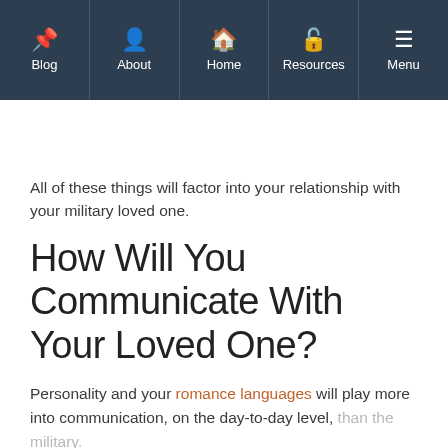Blog | About | Home | Resources | Menu
All of these things will factor into your relationship with your military loved one.
How Will You Communicate With Your Loved One?
Personality and your romance languages will play more into communication, on the day-to-day level, than the military.
You will need to determine how you best